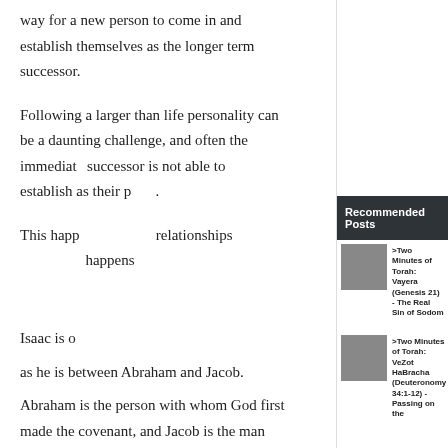way for a new person to come in and establish themselves as the longer term successor.
Following a larger than life personality can be a daunting challenge, and often the immediate successor is not able to establish as their place.
This happens in many different kinds of relationships and leadership situations. It happens...
Isaac is caught in the middle in some ways as he is between Abraham and Jacob.
Abraham is the person with whom God first made the covenant, and Jacob is the man
Recommended Posts
>Two Minutes of Torah: Vayera (Genesis 21) - The Real Sin of Sodom
>Two Minutes of Torah: VeZot HaBracha (Deuteronomy 34:1-12) - Passing on the